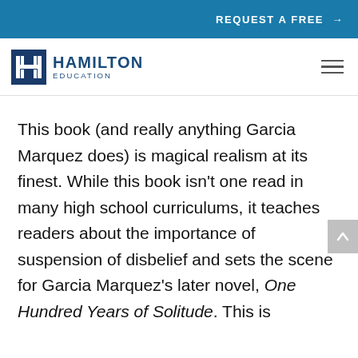REQUEST A FREE →
[Figure (logo): Hamilton Education logo with stylized H icon and text HAMILTON EDUCATION]
This book (and really anything Garcia Marquez does) is magical realism at its finest. While this book isn't one read in many high school curriculums, it teaches readers about the importance of suspension of disbelief and sets the scene for Garcia Marquez's later novel, One Hundred Years of Solitude. This is